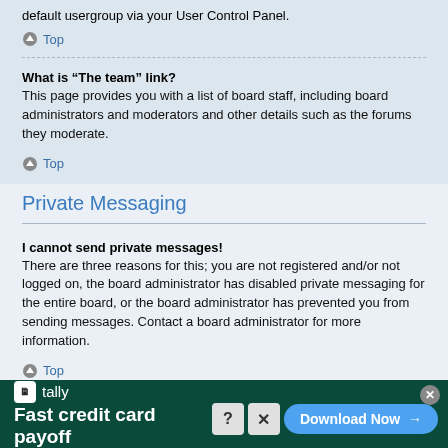default usergroup via your User Control Panel.
Top
What is “The team” link?
This page provides you with a list of board staff, including board administrators and moderators and other details such as the forums they moderate.
Top
Private Messaging
I cannot send private messages!
There are three reasons for this; you are not registered and/or not logged on, the board administrator has disabled private messaging for the entire board, or the board administrator has prevented you from sending messages. Contact a board administrator for more information.
Top
I keep getting unwanted private messages!
[Figure (screenshot): Advertisement banner for Tally app: Fast credit card payoff, with Download Now button]